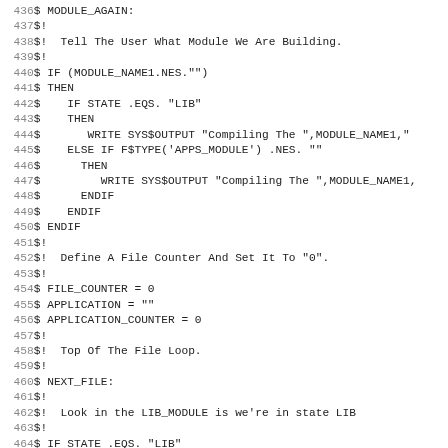Code listing lines 436-467, DCL/shell script source code
436 $ MODULE_AGAIN:
437 $!
438 $!  Tell The User What Module We Are Building.
439 $!
440 $ IF (MODULE_NAME1.NES."")
441 $ THEN
442 $    IF STATE .EQS. "LIB"
443 $    THEN
444 $       WRITE SYS$OUTPUT "Compiling The ",MODULE_NAME1,"
445 $    ELSE IF F$TYPE('APPS_MODULE') .NES. ""
446 $      THEN
447 $         WRITE SYS$OUTPUT "Compiling The ",MODULE_NAME1,
448 $      ENDIF
449 $    ENDIF
450 $ ENDIF
451 $!
452 $!  Define A File Counter And Set It To "0".
453 $!
454 $ FILE_COUNTER = 0
455 $ APPLICATION = ""
456 $ APPLICATION_COUNTER = 0
457 $!
458 $!  Top Of The File Loop.
459 $!
460 $ NEXT_FILE:
461 $!
462 $!  Look in the LIB_MODULE is we're in state LIB
463 $!
464 $ IF STATE .EQS. "LIB"
465 $ THEN
466 $!
467 $!  O.K. Extract The File Name From The File list.